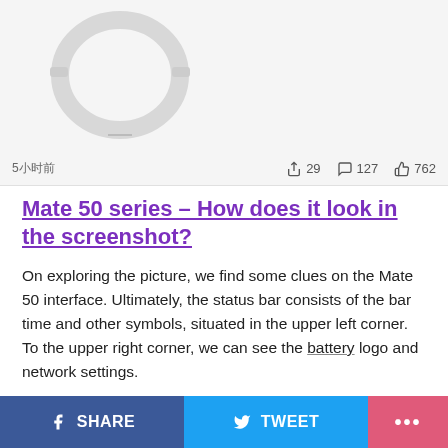[Figure (photo): White USB/Lightning cable coiled on light gray background, with Chinese text timestamp '5小时前' and social stats: 29 shares, 127 comments, 762 likes]
Mate 50 series – How does it look in the screenshot?
On exploring the picture, we find some clues on the Mate 50 interface. Ultimately, the status bar consists of the bar time and other symbols, situated in the upper left corner. To the upper right corner, we can see the battery logo and network settings.
Notably, these network graphs display the 4G signals. Hence, it gets confirmed that Mate 50 does not support the 5G capability. Further, there is a huge gap between of
SHARE   TWEET   ...